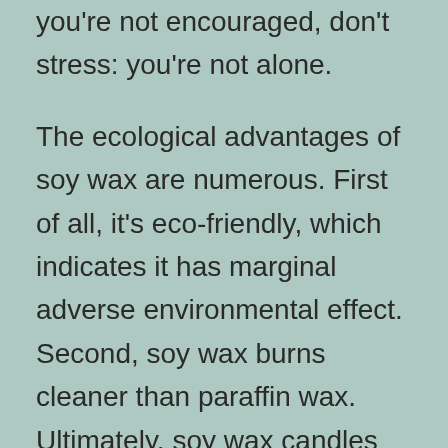you're not encouraged, don't stress: you're not alone.
The ecological advantages of soy wax are numerous. First of all, it's eco-friendly, which indicates it has marginal adverse environmental effect. Second, soy wax burns cleaner than paraffin wax. Ultimately, soy wax candles are carbon neutral as well as vegetarian. As well as since soy wax is so abundant, soy candle lights are eco-friendly as well as cost effective. A couple of downsides of soy wax include their tendency to soot, but these are inadequate to prevent individuals